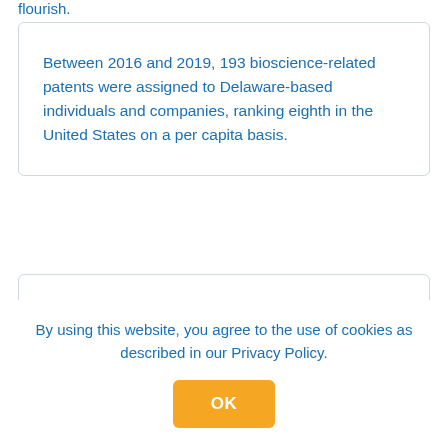flourish.
Between 2016 and 2019, 193 bioscience-related patents were assigned to Delaware-based individuals and companies, ranking eighth in the United States on a per capita basis.
Delaware ranked #6 in the nation in
By using this website, you agree to the use of cookies as described in our Privacy Policy.
OK